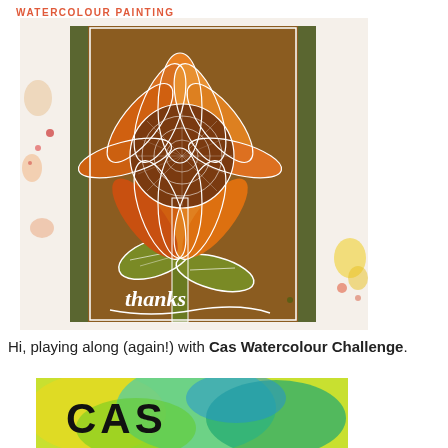WATERCOLOUR PAINTING
[Figure (photo): A handmade card featuring a large sunflower with white embossed outlines on an orange and brown watercolour background. The sunflower has detailed petals and a lacy center. A white die-cut word 'thanks' appears at the bottom. The card has an olive green border stripe and a watercolour-splashed outer background.]
Hi, playing along (again!) with Cas Watercolour Challenge.
[Figure (photo): A partially visible image showing the CAS Watercolour Challenge logo/badge with colorful yellow, green, and blue watercolour background and bold black text reading 'CAS'.]